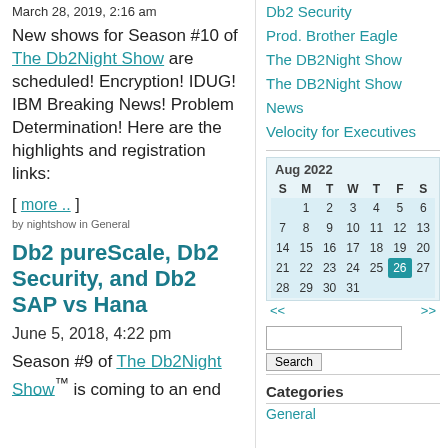March 28, 2019, 2:16 am
New shows for Season #10 of The Db2Night Show are scheduled! Encryption! IDUG! IBM Breaking News! Problem Determination! Here are the highlights and registration links:
[ more .. ]
by nightshow in General
Db2 pureScale, Db2 Security, and Db2 SAP vs Hana
June 5, 2018, 4:22 pm
Season #9 of The Db2Night Show™ is coming to an end
Db2 Security
Prod. Brother Eagle
The DB2Night Show
The DB2Night Show News
Velocity for Executives
| S | M | T | W | T | F | S |
| --- | --- | --- | --- | --- | --- | --- |
|  | 1 | 2 | 3 | 4 | 5 | 6 |
| 7 | 8 | 9 | 10 | 11 | 12 | 13 |
| 14 | 15 | 16 | 17 | 18 | 19 | 20 |
| 21 | 22 | 23 | 24 | 25 | 26 | 27 |
| 28 | 29 | 30 | 31 |  |  |  |
Search
Categories